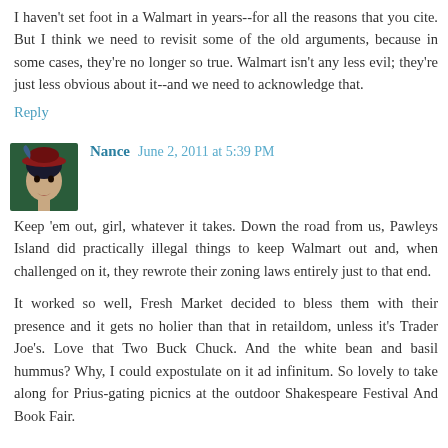I haven't set foot in a Walmart in years--for all the reasons that you cite. But I think we need to revisit some of the old arguments, because in some cases, they're no longer so true. Walmart isn't any less evil; they're just less obvious about it--and we need to acknowledge that.
Reply
Nance  June 2, 2011 at 5:39 PM
Keep 'em out, girl, whatever it takes. Down the road from us, Pawleys Island did practically illegal things to keep Walmart out and, when challenged on it, they rewrote their zoning laws entirely just to that end.
It worked so well, Fresh Market decided to bless them with their presence and it gets no holier than that in retaildom, unless it's Trader Joe's. Love that Two Buck Chuck. And the white bean and basil hummus? Why, I could expostulate on it ad infinitum. So lovely to take along for Prius-gating picnics at the outdoor Shakespeare Festival And Book Fair.